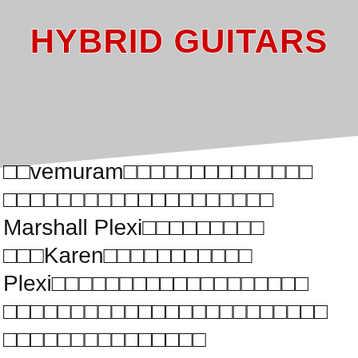HYBRID GUITARS
□□vemuram□□□□□□□□□□□□□□□□□□□□□□□□□□□□□□□□□Marshall Plexi□□□□□□□□□□□Karen□□□□□□□□□□□Plexi□□□□□□□□□□□□□□□□□□□□□□□□□□□□□□□□□□□□□□□□□□□□□□□□□□□□□□□□□□□□□□□□□□□□